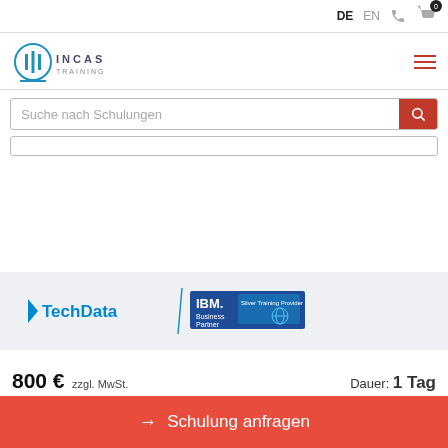DE  EN
[Figure (logo): INCAS Training logo with circular icon]
Suche nach Schulungen
[Figure (logo): Tech Data and IBM Business Partner Silver Training Provider logos]
800 € zzgl. MwSt.   Dauer: 1 Tag
→ Schulung anfragen